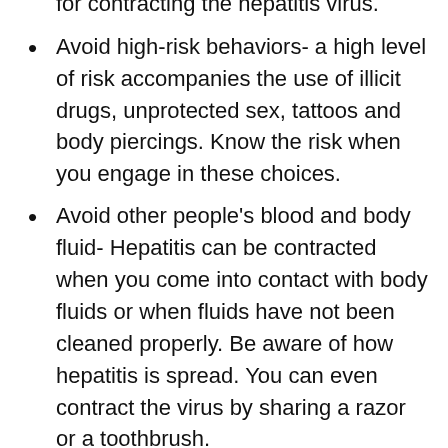for contracting the hepatitis virus.
Avoid high-risk behaviors- a high level of risk accompanies the use of illicit drugs, unprotected sex, tattoos and body piercings. Know the risk when you engage in these choices.
Avoid other people's blood and body fluid- Hepatitis can be contracted when you come into contact with body fluids or when fluids have not been cleaned properly. Be aware of how hepatitis is spread. You can even contract the virus by sharing a razor or a toothbrush.
Eat a healthy diet and maintain a healthy weight- Talk to your doctor about what weight is right for you, and use fresh fruits and vegetables and whole grains as the